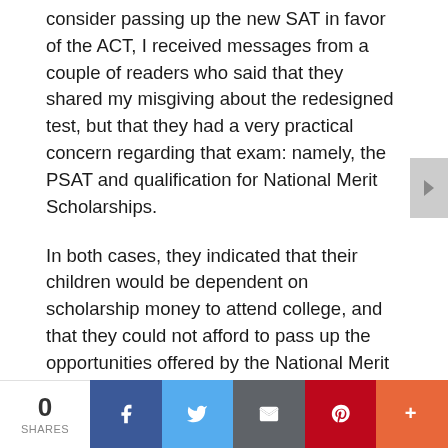consider passing up the new SAT in favor of the ACT, I received messages from a couple of readers who said that they shared my misgiving about the redesigned test, but that they had a very practical concern regarding that exam: namely, the PSAT and qualification for National Merit Scholarships.

In both cases, they indicated that their children would be dependent on scholarship money to attend college, and that they could not afford to pass up the opportunities offered by the National Merit program.
0 SHARES | Facebook | Twitter | Email | Pinterest | More